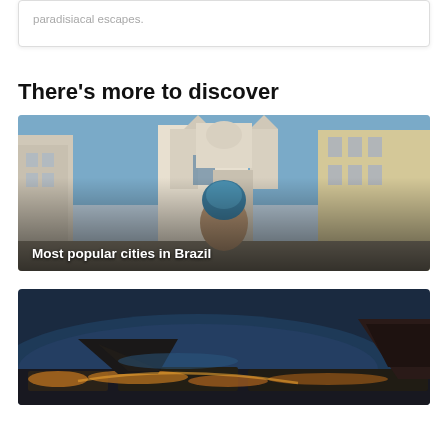paradisiacal escapes.
There's more to discover
[Figure (photo): Street scene in Brazil showing colonial architecture with a church in the background and a person in a blue headwrap in the foreground. Caption overlay reads 'Most popular cities in Brazil'.]
Most popular cities in Brazil
[Figure (photo): Aerial night view of Rio de Janeiro, Brazil, showing the bay, Sugarloaf Mountain, and city lights along the coastline.]